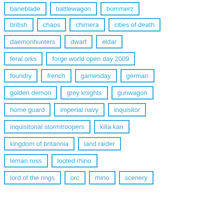baneblade
battlewagon
bommerz
british
chaos
chimera
cities of death
daemonhunters
dwarf
eldar
feral orks
forge world open day 2009
foundry
french
gamesday
german
golden demon
grey knights
gunwagon
home guard
imperial navy
inquisitor
inquisitorial stormtroopers
killa kan
kingdom of britannia
land raider
leman russ
looted rhino
lord of the rings
orc
rhino
scenery